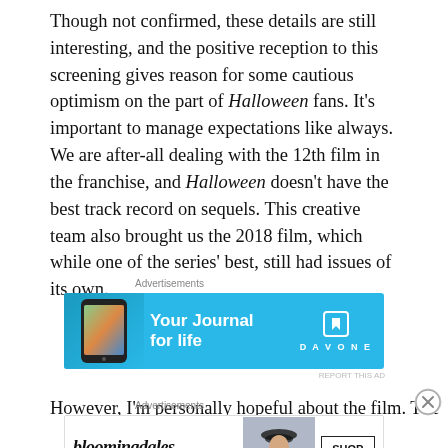Though not confirmed, these details are still interesting, and the positive reception to this screening gives reason for some cautious optimism on the part of Halloween fans. It's important to manage expectations like always. We are after-all dealing with the 12th film in the franchise, and Halloween doesn't have the best track record on sequels. This creative team also brought us the 2018 film, which while one of the series' best, still had issues of its own.
[Figure (other): DayOne app advertisement banner - 'Your Journal for life' with smartphone image and DayOne logo on light blue background]
However, I'm personally hopeful about the film. The
[Figure (other): Bloomingdales advertisement banner - 'View Today's Top Deals!' with woman in hat image and 'SHOP NOW >' button]